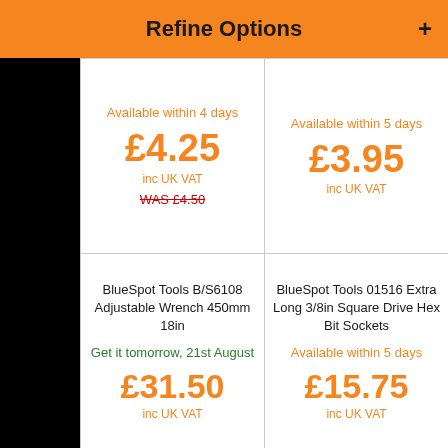Refine Options
Available within 4 days
£4.25 inc UK VAT
WAS £4.50
Available within 5 days
£3.95 inc UK VAT
BlueSpot Tools B/S6108 Adjustable Wrench 450mm 18in
Get it tomorrow, 21st August
£31.50 inc UK VAT
BlueSpot Tools 01516 Extra Long 3/8in Square Drive Hex Bit Sockets
Available within 5 days
£15.75 inc UK VAT